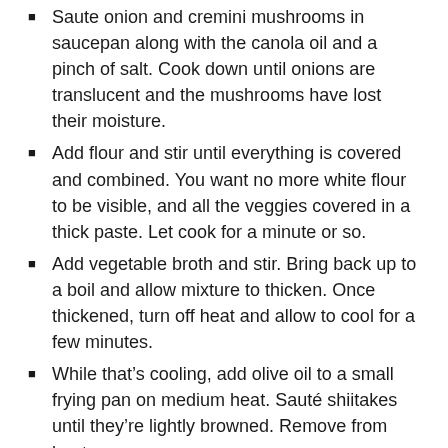Saute onion and cremini mushrooms in saucepan along with the canola oil and a pinch of salt. Cook down until onions are translucent and the mushrooms have lost their moisture.
Add flour and stir until everything is covered and combined. You want no more white flour to be visible, and all the veggies covered in a thick paste. Let cook for a minute or so.
Add vegetable broth and stir. Bring back up to a boil and allow mixture to thicken. Once thickened, turn off heat and allow to cool for a few minutes.
While that’s cooling, add olive oil to a small frying pan on medium heat. Sauté shiitakes until they’re lightly browned. Remove from heat.
Take thickened sauce to a blender. Add in the thyme and sage, and process on high until smooth. Return to sauce pan, and turn heat back on.